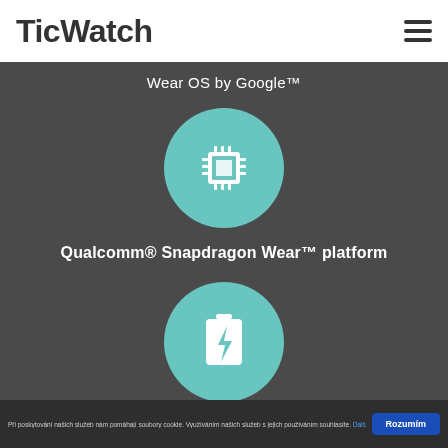TicWatch
Wear OS by Google™
[Figure (illustration): Teal circle with white microchip/CPU icon]
Qualcomm® Snapdragon Wear™ platform
[Figure (illustration): Teal circle with white battery/lightning bolt icon]
Při poskytování našich služeb nám pomáhají soubory cookie. Využíváním našich služeb s jejich používáním souhlasíte. Další informace